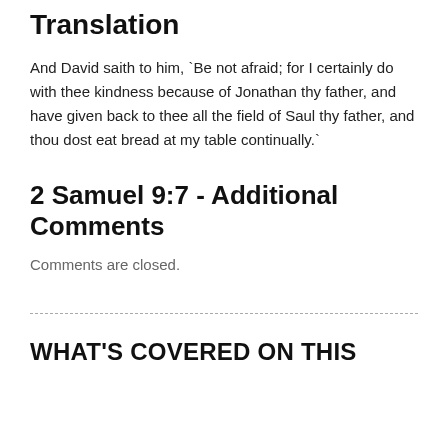Translation
And David saith to him, `Be not afraid; for I certainly do with thee kindness because of Jonathan thy father, and have given back to thee all the field of Saul thy father, and thou dost eat bread at my table continually.`
2 Samuel 9:7 - Additional Comments
Comments are closed.
WHAT'S COVERED ON THIS